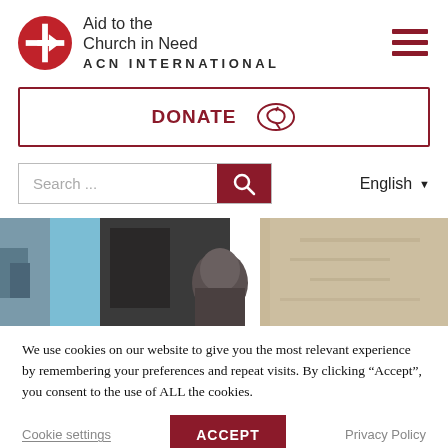[Figure (logo): Aid to the Church in Need (ACN International) logo — red circle with white cross and arrow, text 'Aid to the Church in Need' and 'ACN INTERNATIONAL']
[Figure (other): Hamburger menu icon — three dark red horizontal bars]
[Figure (other): DONATE button with red border on white background, red italic envelope/tag icon]
[Figure (other): Search input field with placeholder 'Search ...' and red search button, plus English language dropdown]
[Figure (photo): Hero photo showing a person's head and damaged wall]
We use cookies on our website to give you the most relevant experience by remembering your preferences and repeat visits. By clicking “Accept”, you consent to the use of ALL the cookies.
Cookie settings   ACCEPT   Privacy Policy